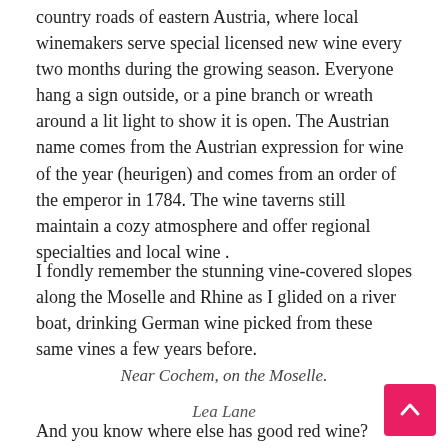country roads of eastern Austria, where local winemakers serve special licensed new wine every two months during the growing season. Everyone hang a sign outside, or a pine branch or wreath around a lit light to show it is open. The Austrian name comes from the Austrian expression for wine of the year (heurigen) and comes from an order of the emperor in 1784. The wine taverns still maintain a cozy atmosphere and offer regional specialties and local wine .
I fondly remember the stunning vine-covered slopes along the Moselle and Rhine as I glided on a river boat, drinking German wine picked from these same vines a few years before.
Near Cochem, on the Moselle.
Lea Lane
And you know where else has good red wine? Bulgaria. I visited a few small wine estates about fifteen years ago, in a countryside clad in vines.